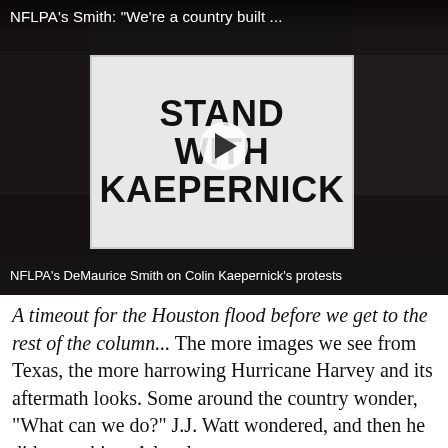[Figure (screenshot): Video thumbnail showing protesters holding a 'Stand With Kaepernick' sign, with a play button overlay. Top bar reads: NFLPA's Smith: "We're a country built ..." Caption bar: NFLPA's DeMaurice Smith on Colin Kaepernick's protests]
NFLPA's DeMaurice Smith on Colin Kaepernick's protests
A timeout for the Houston flood before we get to the rest of the column... The more images we see from Texas, the more harrowing Hurricane Harvey and its aftermath looks. Some around the country wonder, "What can we do?" J.J. Watt wondered, and then he did something. A local